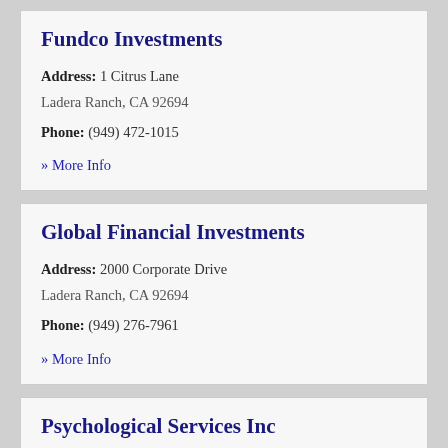Fundco Investments
Address: 1 Citrus Lane
Ladera Ranch, CA 92694
Phone: (949) 472-1015
» More Info
Global Financial Investments
Address: 2000 Corporate Drive
Ladera Ranch, CA 92694
Phone: (949) 276-7961
» More Info
Psychological Services Inc